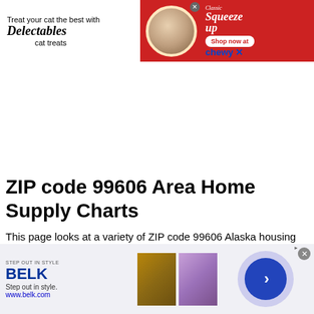[Figure (screenshot): Delectables cat treats advertisement banner — red background with cat image, 'Squeeze Up' product, 'Shop now at chewy' button with X close icon]
ZIP code 99606 Area Home Supply Charts
This page looks at a variety of ZIP code 99606 Alaska housing
[Figure (screenshot): Belk advertising banner — 'Step out in style. www.belk.com' with two fashion images and a blue circle arrow button]